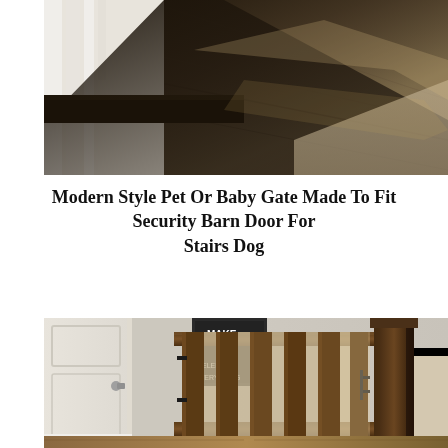[Figure (photo): Close-up photo of a white wooden stair railing with dark hardwood flooring, showing the base of white balusters and a dark stained bottom rail against a light carpet or flooring surface.]
Modern Style Pet Or Baby Gate Made To Fit Security Barn Door For Stairs Dog
[Figure (photo): Photo of a rustic wooden barn-style pet or baby gate with vertical wood slats and a horizontal top and bottom rail, installed at the top of a staircase between a white door and a dark wooden newel post. A decorative black chalkboard sign reading MAKE, CELEBRATE EVERYTHING is visible in the background.]